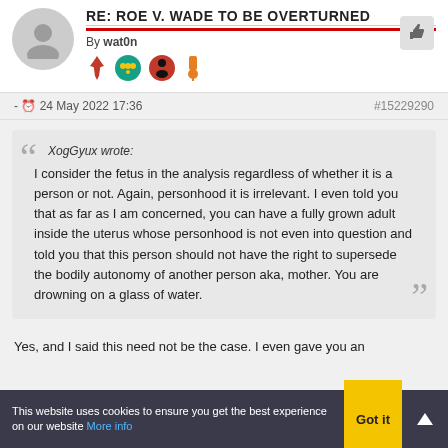RE: ROE V. WADE TO BE OVERTURNED
By wat0n
- 24 May 2022 17:36
#15229290
XogGyux wrote:
I consider the fetus in the analysis regardless of whether it is a person or not. Again, personhood it is irrelevant. I even told you that as far as I am concerned, you can have a fully grown adult inside the uterus whose personhood is not even into question and told you that this person should not have the right to supersede the bodily autonomy of another person aka, mother. You are drowning on a glass of water.
Yes, and I said this need not be the case. I even gave you an
This website uses cookies to ensure you get the best experience on our website More info